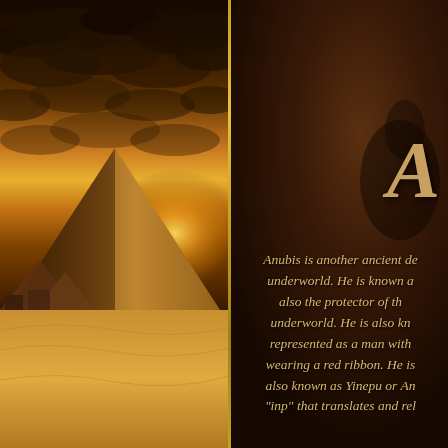[Figure (photo): Photograph of Egyptian pyramids at sunset/sunrise with dramatic golden and orange sky with clouds and desert sand in foreground]
A
Anubis is another ancient deity of the underworld. He is known as also the protector of the underworld. He is also known as represented as a man with wearing a red ribbon. He is also known as Yinepu or An "inp" that translates and rel...